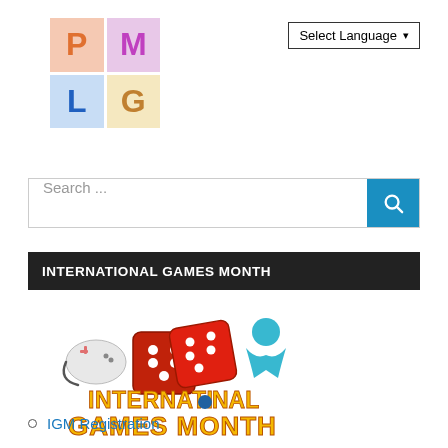[Figure (logo): PMLG logo — 2x2 grid of colored squares with letters P (orange on peach), M (purple on pink), L (blue on light blue), G (brown on cream)]
Select Language ▾
Search ...
INTERNATIONAL GAMES MONTH
[Figure (logo): International Games Month logo — colorful text 'INTERNATIONAL GAMES MONTH' with game controller, red dice, and blue meeple icons above]
IGM Registration